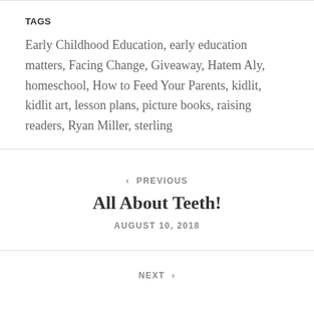TAGS
Early Childhood Education, early education matters, Facing Change, Giveaway, Hatem Aly, homeschool, How to Feed Your Parents, kidlit, kidlit art, lesson plans, picture books, raising readers, Ryan Miller, sterling
‹ PREVIOUS
All About Teeth!
AUGUST 10, 2018
NEXT ›